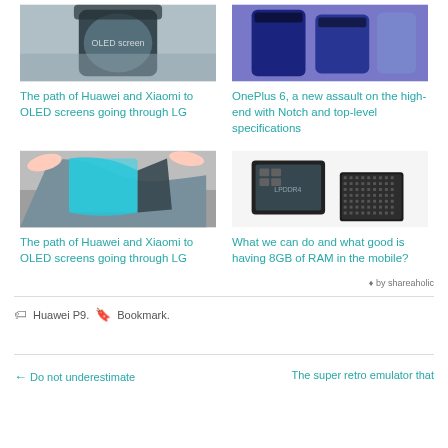[Figure (photo): Curved flexible OLED screen display]
The path of Huawei and Xiaomi to OLED screens going through LG
[Figure (photo): OnePlus 6 smartphones in dark colors]
OnePlus 6, a new assault on the high-end with Notch and top-level specifications
[Figure (photo): Flexible OLED screen being bent by fingers]
The path of Huawei and Xiaomi to OLED screens going through LG
[Figure (photo): RAM chips on white background]
What we can do and what good is having 8GB of RAM in the mobile?
♦ by shareaholic
Huawei P9.   Bookmark.
← Do not underestimate
The super retro emulator that